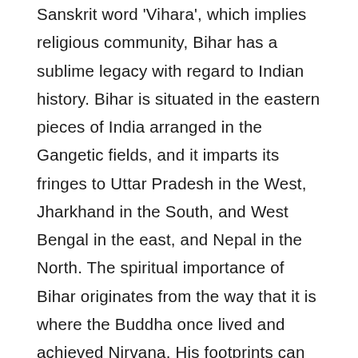Sanskrit word 'Vihara', which implies religious community, Bihar has a sublime legacy with regard to Indian history. Bihar is situated in the eastern pieces of India arranged in the Gangetic fields, and it imparts its fringes to Uttar Pradesh in the West, Jharkhand in the South, and West Bengal in the east, and Nepal in the North. The spiritual importance of Bihar originates from the way that it is where the Buddha once lived and achieved Nirvana. His footprints can be followed through his lessons and the landmarks which stand tall right up 'til the present time, serving to control individuals and show them the privileged way. There are also many more places to visit in Bihar. Here is the mini-guide of it, have a look-